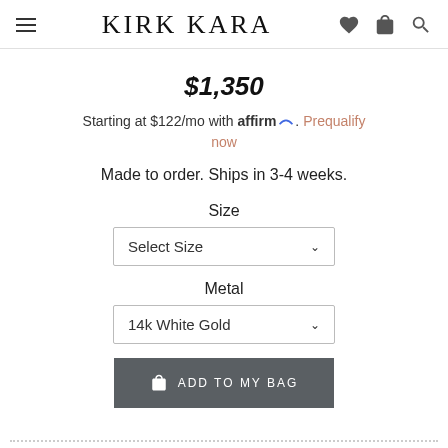KIRK KARA
$1,350
Starting at $122/mo with affirm. Prequalify now
Made to order. Ships in 3-4 weeks.
Size
Select Size
Metal
14k White Gold
ADD TO MY BAG